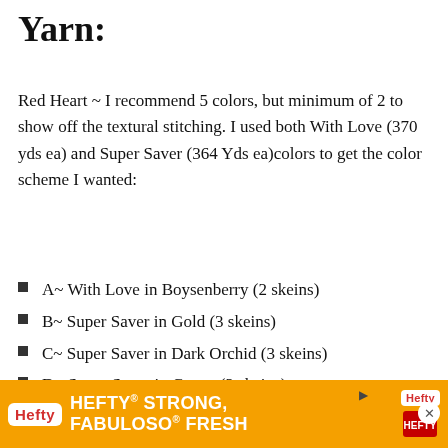Yarn:
Red Heart ~ I recommend 5 colors, but minimum of 2 to show off the textural stitching. I used both With Love (370 yds ea) and Super Saver (364 Yds ea)colors to get the color scheme I wanted:
A~ With Love in Boysenberry (2 skeins)
B~ Super Saver in Gold (3 skeins)
C~ Super Saver in Dark Orchid (3 skeins)
D~ Super Saver in Carrot (2 skeins)
E~ With Love in Spinach (2 skeins)
Hefty STRONG, FABULOSO FRESH (advertisement)